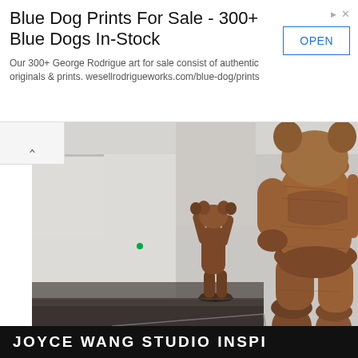[Figure (other): Advertisement banner: Blue Dog Prints For Sale - 300+ Blue Dogs In-Stock. Text: Our 300+ George Rodrigue art for sale consist of authentic originals & prints. wesellrodrigueworks.com/blue-dog/prints. Button: OPEN]
[Figure (photo): Photo of large wooden KAWS sculptures inside a gallery space. One large sculpture in the foreground (right side), another smaller one in the background (center), both appear to be companion figures made of dark brown wood. White gallery walls and dark floor visible.]
Described by curator and art historian Michael Auping as '[Clement] Greenberg's worst nightmare', KAWS is seen as the enfant terrible of the New York art world. Many have compared him to Jean-Michel Basquiat and Keith Haring, whose own
JOYCE WANG STUDIO INSPI